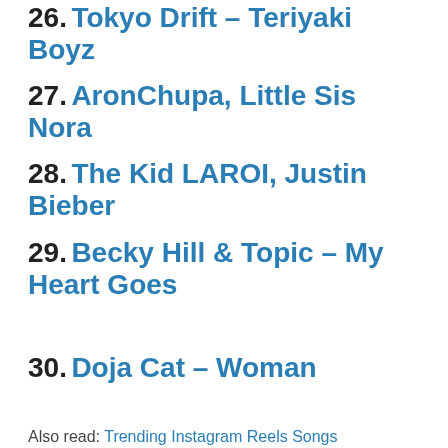26. Tokyo Drift – Teriyaki Boyz
27. AronChupa, Little Sis Nora
28. The Kid LAROI, Justin Bieber
29. Becky Hill & Topic – My Heart Goes
30. Doja Cat – Woman
Also read: Trending Instagram Reels Songs
Trending Romantic English Songs
[Figure (photo): Partial photo strip at bottom of page, showing a colorful outdoor scene]